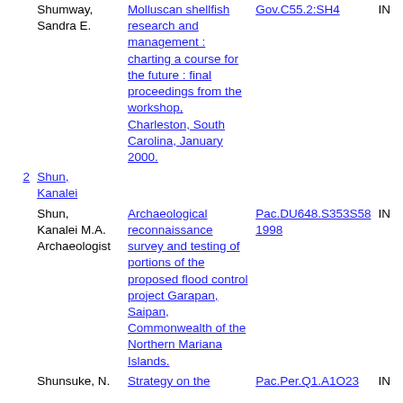| # | Author | Title | Call Number | Status |
| --- | --- | --- | --- | --- |
|  | Shumway, Sandra E. | Molluscan shellfish research and management : charting a course for the future : final proceedings from the workshop, Charleston, South Carolina, January 2000. | Gov.C55.2:SH4 | IN |
| 2 | Shun, Kanalei |  |  |  |
|  | Shun, Kanalei M.A. Archaeologist | Archaeological reconnaissance survey and testing of portions of the proposed flood control project Garapan, Saipan, Commonwealth of the Northern Mariana Islands. | Pac.DU648.S353S58 1998 | IN |
|  | Shunsuke, N. | Strategy on the | Pac.Per.Q1.A1O23 | IN |